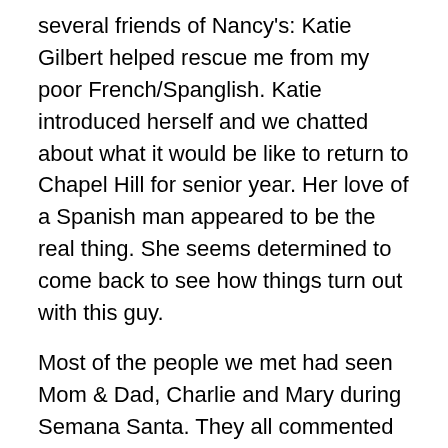several friends of Nancy's: Katie Gilbert helped rescue me from my poor French/Spanglish. Katie introduced herself and we chatted about what it would be like to return to Chapel Hill for senior year. Her love of a Spanish man appeared to be the real thing. She seems determined to come back to see how things turn out with this guy.
Most of the people we met had seen Mom & Dad, Charlie and Mary during Semana Santa. They all commented on Charlie's good accent and personality and Mary's smile. It is nice getting family compliments from strangers.
The band Triana was not so great, as far I was concerned so I went to bed relatively early (midnight). They did arrive until 11:30pm, so I'm sure I missed the best moments of the concert. Flamenco Rock may make it on the record charts in Andelusia, but its time is farther ahead in the US.